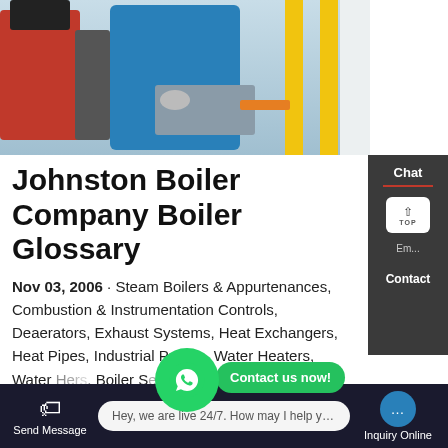[Figure (photo): Industrial boiler room photo showing red boiler body, blue cylindrical tank, yellow vertical pipes, and gray piping/valves.]
Johnston Boiler Company Boiler Glossary
Nov 03, 2006 · Steam Boilers & Appurtenances, Combustion & Instrumentation Controls, Deaerators, Exhaust Systems, Heat Exchangers, Heat Pipes, Industrial Pumps, Water Heaters, Water Heaters, Boiler Services & Parts. 3 Common Boiler Formulas BOILER HORSE POWER What is the boiler horsepower of a boiler of s... or h...
Chat
Email
Contact
Contact us now!
Send Message
Hey, we are live 24/7. How may I help you?
Inquiry Online